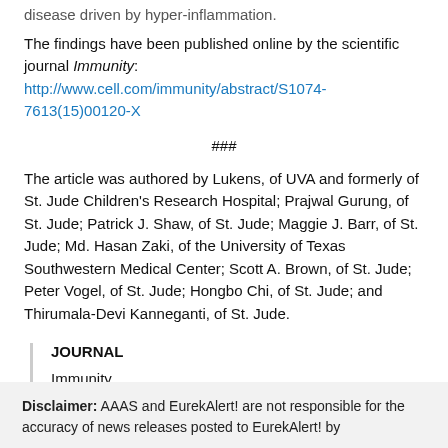disease driven by hyper-inflammation.
The findings have been published online by the scientific journal Immunity: http://www.cell.com/immunity/abstract/S1074-7613(15)00120-X
###
The article was authored by Lukens, of UVA and formerly of St. Jude Children's Research Hospital; Prajwal Gurung, of St. Jude; Patrick J. Shaw, of St. Jude; Maggie J. Barr, of St. Jude; Md. Hasan Zaki, of the University of Texas Southwestern Medical Center; Scott A. Brown, of St. Jude; Peter Vogel, of St. Jude; Hongbo Chi, of St. Jude; and Thirumala-Devi Kanneganti, of St. Jude.
JOURNAL
Immunity
Disclaimer: AAAS and EurekAlert! are not responsible for the accuracy of news releases posted to EurekAlert! by